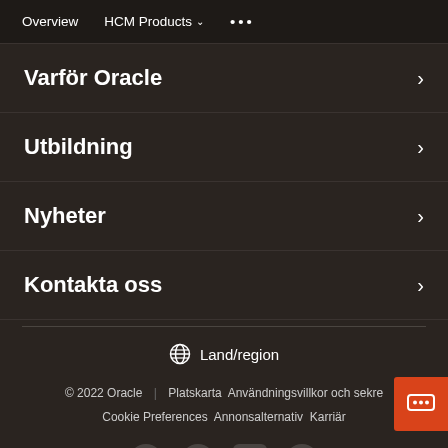Overview   HCM Products ∨   ...
Varför Oracle
Utbildning
Nyheter
Kontakta oss
Land/region
© 2022 Oracle  |  Platskarta  Användningsvillkor och sekre  Cookie Preferences  Annonsalternativ  Karriär